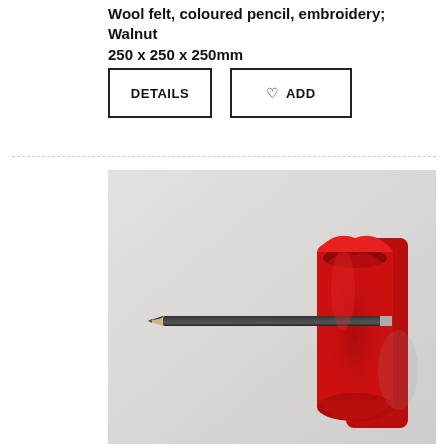Wool felt, coloured pencil, embroidery; Walnut 250 x 250 x 250mm
[Figure (other): Two buttons: DETAILS and heart ADD]
[Figure (photo): Red wool felt cylindrical wall-mounted pencil holder with a black pencil threaded through it horizontally, against a light grey wall.]